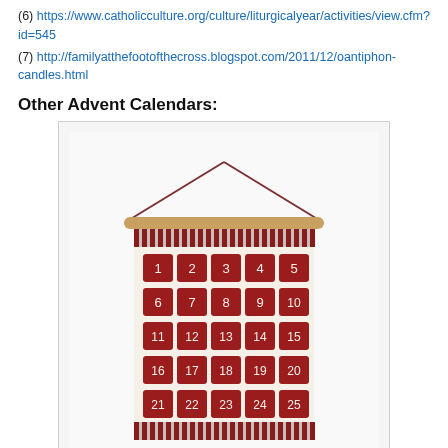(6) https://www.catholicculture.org/culture/liturgicalyear/activities/view.cfm?id=545
(7) http://familyatthefootofthecross.blogspot.com/2011/12/oantiphon-candles.html
Other Advent Calendars:
[Figure (photo): A fabric advent calendar hanging from a wooden rod with a string. The calendar is cream/white with red striped accents at top and bottom. It has 25 red numbered pockets arranged in 5 rows of 5, numbered 1-25.]